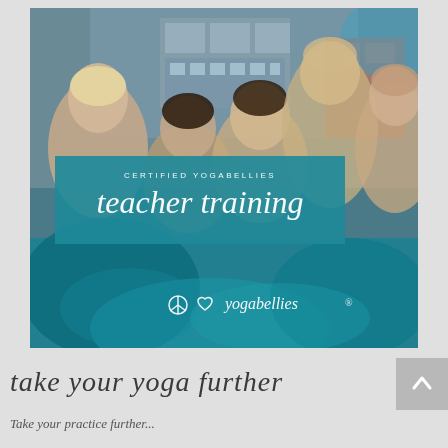[Figure (photo): Promotional banner image for Certified YogaBellies Teacher Training. Group photo of five smiling women outdoors in front of a modern building. Overlaid with a teal banner reading 'CERTIFIED YOGABELLIES teacher training' and YogaBellies logo at bottom. Background blends into teal/turquoise ink wash at bottom.]
take your yoga further
Take your practice further...